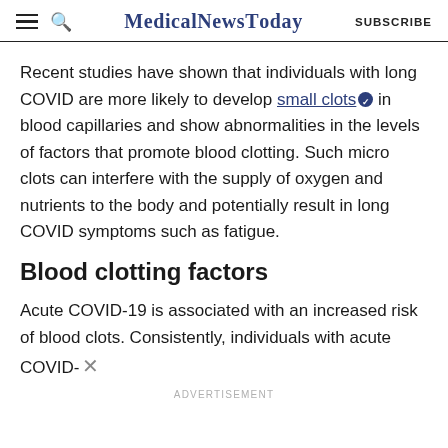MedicalNewsToday | SUBSCRIBE
Recent studies have shown that individuals with long COVID are more likely to develop small clots in blood capillaries and show abnormalities in the levels of factors that promote blood clotting. Such micro clots can interfere with the supply of oxygen and nutrients to the body and potentially result in long COVID symptoms such as fatigue.
Blood clotting factors
Acute COVID-19 is associated with an increased risk of blood clots. Consistently, individuals with acute COVID-
ADVERTISEMENT